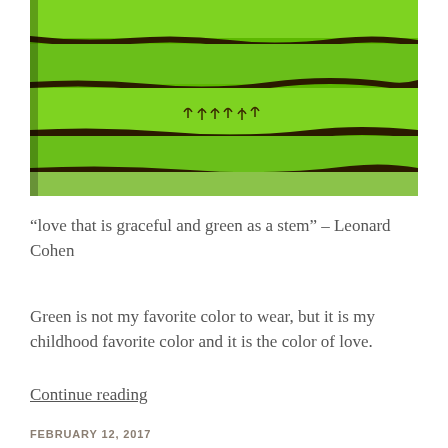[Figure (illustration): Child's painting or artwork showing horizontal bands of bright green and dark brown/black stripes, resembling an abstract landscape with rows of fields or grass, with tiny tree-like figures visible in the middle band.]
“love that is graceful and green as a stem” – Leonard Cohen
Green is not my favorite color to wear, but it is my childhood favorite color and it is the color of love.
Continue reading
FEBRUARY 12, 2017